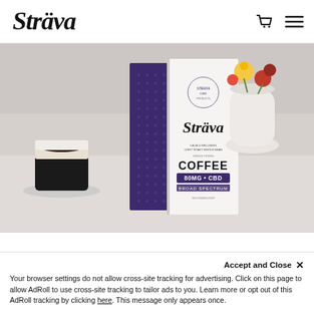[Figure (logo): Strava CBD Coffee brand logo in italic script font]
[Figure (photo): Product photo of Strava CBD Coffee box (white and purple) standing upright next to an espresso cup and a white vase with colorful flowers in the background]
Accept and Close ×
Your browser settings do not allow cross-site tracking for advertising. Click on this page to allow AdRoll to use cross-site tracking to tailor ads to you. Learn more or opt out of this AdRoll tracking by clicking here. This message only appears once.